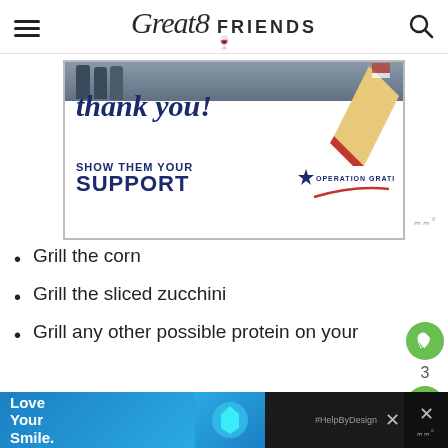Great 8 FRIENDS (logo with hamburger menu and search icon)
[Figure (photo): Advertisement banner for Operation Gratitude showing 'Thank you! SHOW THEM YOUR SUPPORT OPERATION GRATITUDE' with a patriotic pencil graphic and military personnel in background]
Grill the corn
Grill the sliced zucchini
Grill any other possible protein on your
[Figure (photo): Bottom advertisement banner: Love Your Smile. #HelpByDesign with blue dental/smile design imagery. Close buttons visible.]